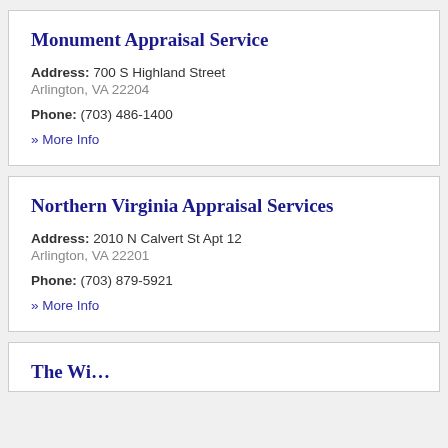Monument Appraisal Service
Address: 700 S Highland Street Arlington, VA 22204
Phone: (703) 486-1400
» More Info
Northern Virginia Appraisal Services
Address: 2010 N Calvert St Apt 12 Arlington, VA 22201
Phone: (703) 879-5921
» More Info
The Wi…